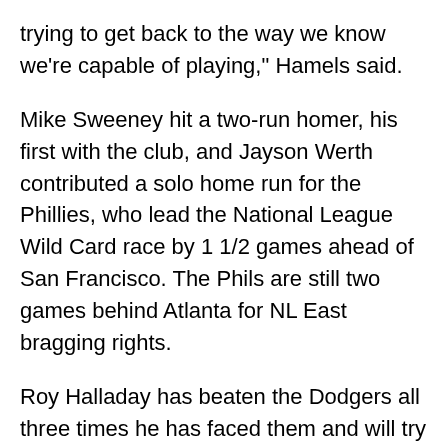trying to get back to the way we know we're capable of playing," Hamels said.
Mike Sweeney hit a two-run homer, his first with the club, and Jayson Werth contributed a solo home run for the Phillies, who lead the National League Wild Card race by 1 1/2 games ahead of San Francisco. The Phils are still two games behind Atlanta for NL East bragging rights.
Roy Halladay has beaten the Dodgers all three times he has faced them and will try to get back on the winning path in Monday's series opener. Halladay, who sports a 1.50 earned run average over 24 innings against LA, had won six straight starts before losing to Houston last Wednesday in a 3-2 setback. He allowed all three runs and six hits in seven innings.